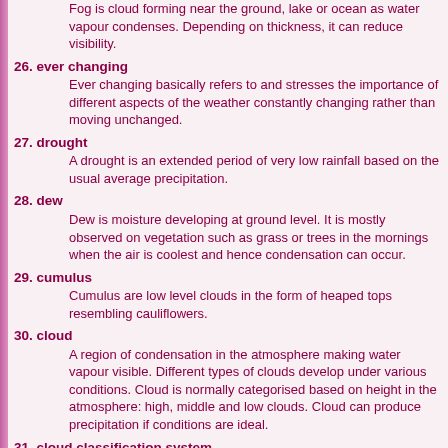Fog is cloud forming near the ground, lake or ocean as water vapour condenses. Depending on thickness, it can reduce visibility.
26. ever changing — Ever changing basically refers to and stresses the importance of different aspects of the weather constantly changing rather than moving unchanged.
27. drought — A drought is an extended period of very low rainfall based on the usual average precipitation.
28. dew — Dew is moisture developing at ground level. It is mostly observed on vegetation such as grass or trees in the mornings when the air is coolest and hence condensation can occur.
29. cumulus — Cumulus are low level clouds in the form of heaped tops resembling cauliflowers.
30. cloud — A region of condensation in the atmosphere making water vapour visible. Different types of clouds develop under various conditions. Cloud is normally categorised based on height in the atmosphere: high, middle and low clouds. Cloud can produce precipitation if conditions are ideal.
31. cloud classification system — A cloud classification system is used to categorise different types of clouds. It is mainly based on the level clouds exist in the atmosphere.
32. climate — Climate is the study of atmospheric conditions over a long period of time in a particular region. For instance, tropical...